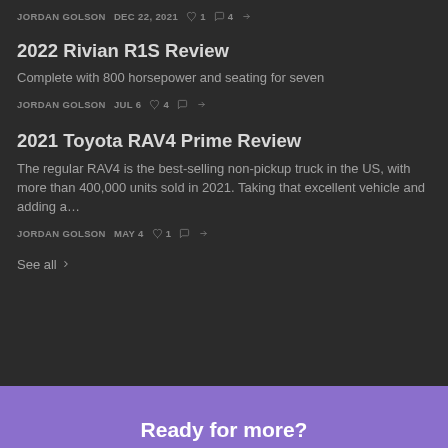JORDAN GOLSON   DEC 22, 2021   ♡ 1   ○ 4   ↪
2022 Rivian R1S Review
Complete with 800 horsepower and seating for seven
JORDAN GOLSON   JUL 6   ♡ 4   ○   ↪
2021 Toyota RAV4 Prime Review
The regular RAV4 is the best-selling non-pickup truck in the US, with more than 400,000 units sold in 2021. Taking that excellent vehicle and adding a…
JORDAN GOLSON   MAY 4   ♡ 1   ○   ↪
See all
Ready for more?